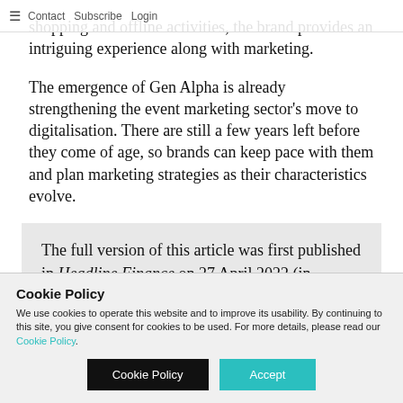≡  Contact  Subscribe  Login
shopping and offline activities, the brand provides an intriguing experience along with marketing.
The emergence of Gen Alpha is already strengthening the event marketing sector's move to digitalisation. There are still a few years left before they come of age, so brands can keep pace with them and plan marketing strategies as their characteristics evolve.
The full version of this article was first published in Headline Finance on 27 April 2022 (in Chinese only).
Source: Headline Finance (web version), 27 April
Cookie Policy
We use cookies to operate this website and to improve its usability. By continuing to this site, you give consent for cookies to be used. For more details, please read our Cookie Policy.